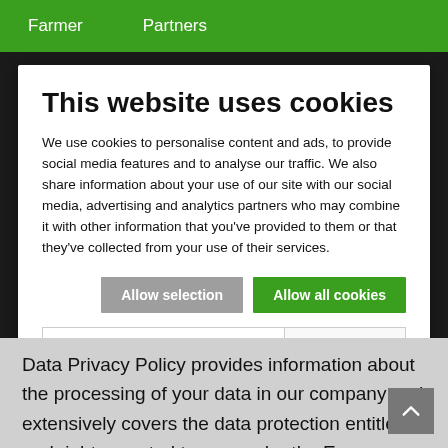Farmer   Partners
This website uses cookies
We use cookies to personalise content and ads, to provide social media features and to analyse our traffic. We also share information about your use of our site with our social media, advertising and analytics partners who may combine it with other information that you've provided to them or that they've collected from your use of their services.
Allow selection   Allow all cookies
Necessary  Comfort  Statistics  Personalization  Show details
Data Privacy Policy provides information about the processing of your data in our company and extensively covers the data protection entitlement and rights granted to you under the European General Data Protection Regulation (EU-GDPR).